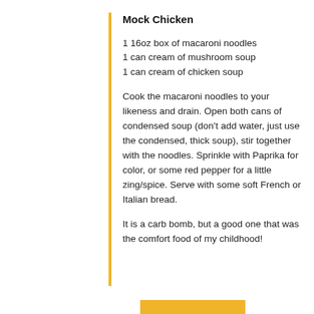Mock Chicken
1 16oz box of macaroni noodles
1 can cream of mushroom soup
1 can cream of chicken soup
Cook the macaroni noodles to your likeness and drain. Open both cans of condensed soup (don't add water, just use the condensed, thick soup), stir together with the noodles. Sprinkle with Paprika for color, or some red pepper for a little zing/spice. Serve with some soft French or Italian bread.
It is a carb bomb, but a good one that was the comfort food of my childhood!